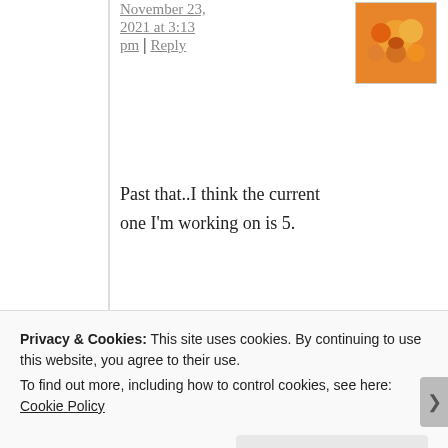November 23, 2021 at 3:13 pm | Reply
[Figure (photo): Small thumbnail photo of orange flowers/pumpkins]
Past that..I think the current one I'm working on is 5.
Loading...
cpuworks | November 24, 2021
[Figure (photo): Small thumbnail photo of a person (elderly woman smiling)]
Privacy & Cookies: This site uses cookies. By continuing to use this website, you agree to their use.
To find out more, including how to control cookies, see here: Cookie Policy
Close and accept